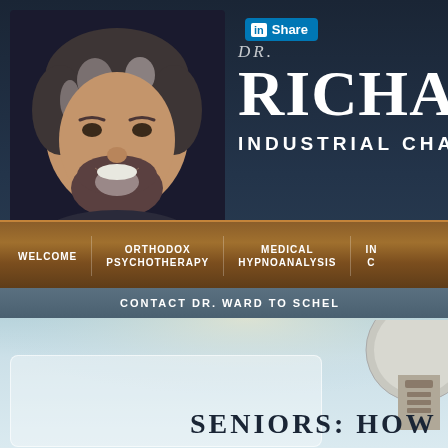[Figure (photo): Headshot of Dr. Richard, a middle-aged man with gray-streaked dark hair and beard, smiling, wearing a dark shirt, against a dark background]
DR. RICHARD
INDUSTRIAL CHAP
[Figure (logo): LinkedIn Share button with blue background, 'in' icon and 'Share' text]
WELCOME
ORTHODOX PSYCHOTHERAPY
MEDICAL HYPNOANALYSIS
IN C
CONTACT DR. WARD TO SCHEL
SENIORS: HOW